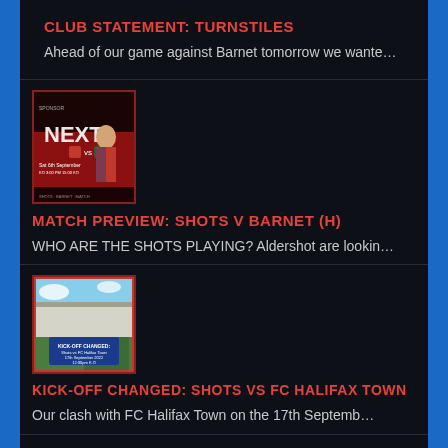CLUB STATEMENT: TURNSTILES
Ahead of our game against Barnet tomorrow we wante…
[Figure (photo): Match day programme cover showing a player with 'NEXT' text, promotional football club image]
MATCH PREVIEW: SHOTS V BARNET (H)
WHO ARE THE SHOTS PLAYING? Aldershot are lookin…
[Figure (photo): Stadium photo with a banner reading 'KICK-OFF CHANGED: Shots vs FC Halifax Town, 17th September 2022, 12:00pm K.O']
KICK-OFF CHANGED: SHOTS VS FC HALIFAX TOWN
Our clash with FC Halifax Town on the 17th Septemb…